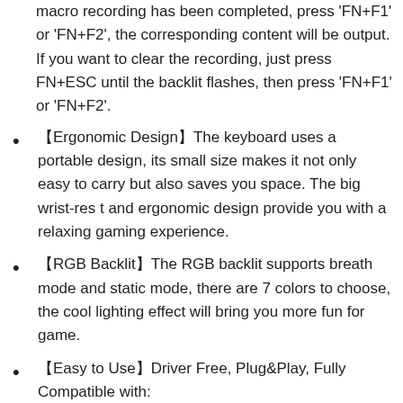(continuation) macro recording has been completed, press 'FN+F1' or 'FN+F2', the corresponding content will be output. If you want to clear the recording, just press FN+ESC until the backlit flashes, then press 'FN+F1' or 'FN+F2'.
【Ergonomic Design】The keyboard uses a portable design, its small size makes it not only easy to carry but also saves you space. The big wrist-res t and ergonomic design provide you with a relaxing gaming experience.
【RGB Backlit】The RGB backlit supports breath mode and static mode, there are 7 colors to choose, the cool lighting effect will bring you more fun for game.
【Easy to Use】Driver Free, Plug&Play, Fully Compatible with: Win10/8/7/Vista/ME/Mac/Linux/IBM